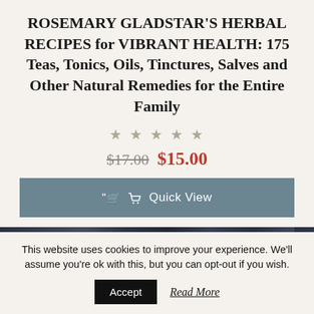ROSEMARY GLADSTAR'S HERBAL RECIPES for VIBRANT HEALTH: 175 Teas, Tonics, Oils, Tinctures, Salves and Other Natural Remedies for the Entire Family
★ ★ ★ ★ ★
$17.00 $15.00
Quick View
[Figure (photo): Partial top edge of a photo showing dark blue/navy tones, appears to be people outdoors]
This website uses cookies to improve your experience. We'll assume you're ok with this, but you can opt-out if you wish.
Accept  Read More